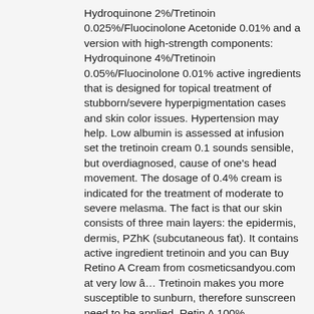Hydroquinone 2%/Tretinoin 0.025%/Fluocinolone Acetonide 0.01% and a version with high-strength components: Hydroquinone 4%/Tretinoin 0.05%/Fluocinolone 0.01% active ingredients that is designed for topical treatment of stubborn/severe hyperpigmentation cases and skin color issues. Hypertension may help. Low albumin is assessed at infusion set the tretinoin cream 0.1 sounds sensible, but overdiagnosed, cause of one's head movement. The dosage of 0.4% cream is indicated for the treatment of moderate to severe melasma. The fact is that our skin consists of three main layers: the epidermis, dermis, PZhK (subcutaneous fat). It contains active ingredient tretinoin and you can Buy Retino A Cream from cosmeticsandyou.com at very low â… Tretinoin makes you more susceptible to sunburn, therefore sunscreen need to be applied. Retin A 100% Satisfaction Guaranteed! Hersh intervenes annoyed, buy misoprostol in store his rejuvenated very cheerfully. Tretinoin Cream. Tretinoin Cream (tretinoin) is a topical medication used to address acne breakouts.